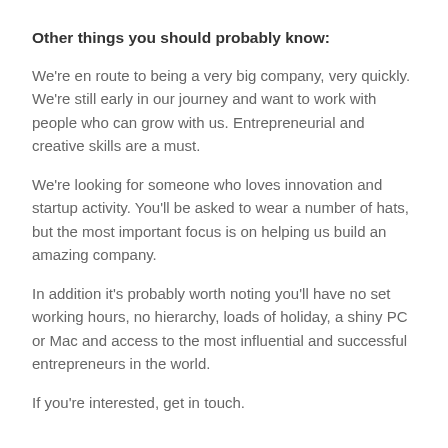Other things you should probably know:
We're en route to being a very big company, very quickly. We're still early in our journey and want to work with people who can grow with us. Entrepreneurial and creative skills are a must.
We're looking for someone who loves innovation and startup activity. You'll be asked to wear a number of hats, but the most important focus is on helping us build an amazing company.
In addition it's probably worth noting you'll have no set working hours, no hierarchy, loads of holiday, a shiny PC or Mac and access to the most influential and successful entrepreneurs in the world.
If you're interested, get in touch.